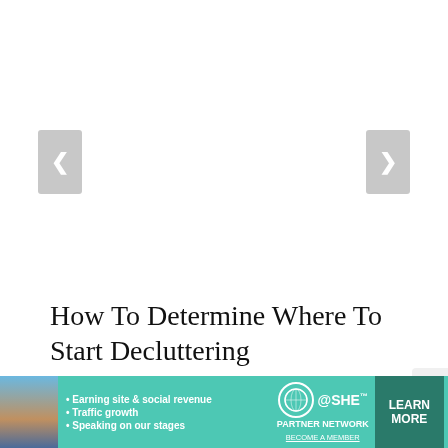[Figure (screenshot): Slideshow carousel with left and right navigation arrows on a white background. Left arrow button on left side, right arrow button on right side.]
How To Determine Where To Start Decluttering
[Figure (infographic): Carousel navigation dots: 6 dots, first dot (active/filled dark), remaining 5 dots light gray]
[Figure (infographic): Advertisement banner for SHE Media Partner Network. Shows a woman's photo, bullet points: Earning site & social revenue, Traffic growth, Speaking on our stages. SHE Partner Network logo, BECOME A MEMBER link, and LEARN MORE button.]